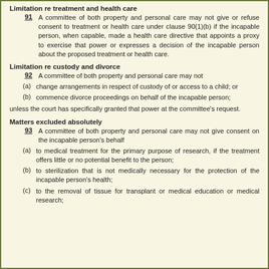Limitation re treatment and health care
91   A committee of both property and personal care may not give or refuse consent to treatment or health care under clause 90(1)(b) if the incapable person, when capable, made a health care directive that appoints a proxy to exercise that power or expresses a decision of the incapable person about the proposed treatment or health care.
Limitation re custody and divorce
92   A committee of both property and personal care may not
(a) change arrangements in respect of custody of or access to a child; or
(b) commence divorce proceedings on behalf of the incapable person;
unless the court has specifically granted that power at the committee's request.
Matters excluded absolutely
93   A committee of both property and personal care may not give consent on the incapable person's behalf
(a) to medical treatment for the primary purpose of research, if the treatment offers little or no potential benefit to the person;
(b) to sterilization that is not medically necessary for the protection of the incapable person's health;
(c) to the removal of tissue for transplant or medical education or medical research;